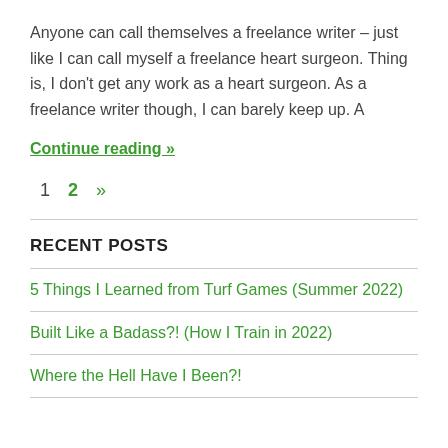Anyone can call themselves a freelance writer – just like I can call myself a freelance heart surgeon. Thing is, I don't get any work as a heart surgeon. As a freelance writer though, I can barely keep up. A
Continue reading »
1  2  »
RECENT POSTS
5 Things I Learned from Turf Games (Summer 2022)
Built Like a Badass?! (How I Train in 2022)
Where the Hell Have I Been?!